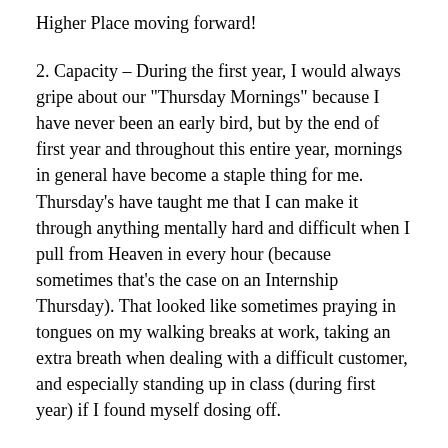Higher Place moving forward!
2. Capacity – During the first year, I would always gripe about our “Thursday Mornings” because I have never been an early bird, but by the end of first year and throughout this entire year, mornings in general have become a staple thing for me. Thursday’s have taught me that I can make it through anything mentally hard and difficult when I pull from Heaven in every hour (because sometimes that’s the case on an Internship Thursday). That looked like sometimes praying in tongues on my walking breaks at work, taking an extra breath when dealing with a difficult customer, and especially standing up in class (during first year) if I found myself dosing off.
3. Intentionality – I’ve been working on the intentionality of being a good friend and showing up for those around me. In light of the harvest we’ve been promised, sometimes that can be a sacrifice, but when the sacrifice is for the Kingdom and you are intentional about it, the hard work of allowing yourself the gift in being seen is worth the momentary pain of working